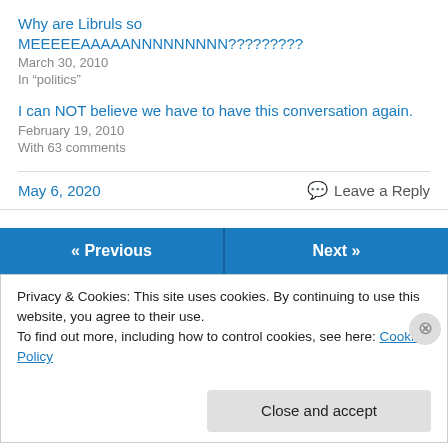Why are Libruls so MEEEEEAAAAANNNNNNNNN?????????
March 30, 2010
In "politics"
I can NOT believe we have to have this conversation again.
February 19, 2010
With 63 comments
May 6, 2020
Leave a Reply
« Previous
Next »
Privacy & Cookies: This site uses cookies. By continuing to use this website, you agree to their use.
To find out more, including how to control cookies, see here: Cookie Policy
Close and accept